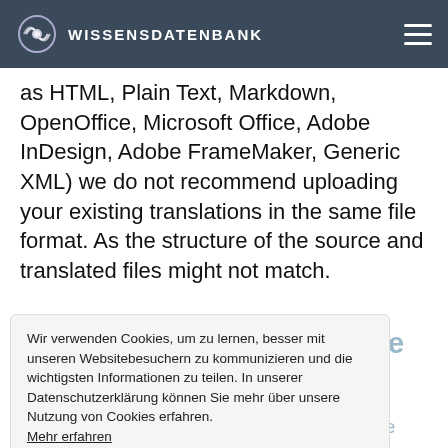WISSENSDATENBANK
as HTML, Plain Text, Markdown, OpenOffice, Microsoft Office, Adobe InDesign, Adobe FrameMaker, Generic XML) we do not recommend uploading your existing translations in the same file format. As the structure of the source and translated files might not match.
What are Quality Assurance (QA) checks?
QA checks are the automatic checkup of all the translations against a set of rules such as translation consistency, spacing consistency, proper spelling, and more. You can find the list of all the QA checks parameters and enable necessary ones in the Projects Settings, Quality Assurance Settings section. If a QA check issue is detected in a translation,
Wir verwenden Cookies, um zu lernen, besser mit unseren Websitebesuchern zu kommunizieren und die wichtigsten Informationen zu teilen. In unserer Datenschutzerklärung können Sie mehr über unsere Nutzung von Cookies erfahren.
Mehr erfahren
Verstanden!